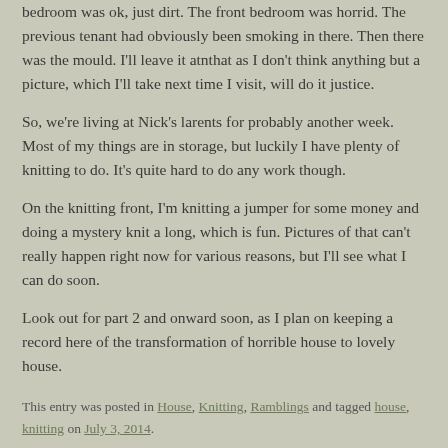bedroom was ok, just dirt. The front bedroom was horrid. The previous tenant had obviously been smoking in there. Then there was the mould. I'll leave it atnthat as I don't think anything but a picture, which I'll take next time I visit, will do it justice.
So, we're living at Nick's larents for probably another week. Most of my things are in storage, but luckily I have plenty of knitting to do. It's quite hard to do any work though.
On the knitting front, I'm knitting a jumper for some money and doing a mystery knit a long, which is fun. Pictures of that can't really happen right now for various reasons, but I'll see what I can do soon.
Look out for part 2 and onward soon, as I plan on keeping a record here of the transformation of horrible house to lovely house.
This entry was posted in House, Knitting, Ramblings and tagged house, knitting on July 3, 2014.